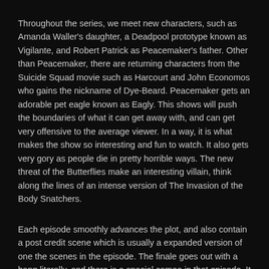Throughout the series, we meet new characters, such as Amanda Waller's daughter, a Deadpool prototype known as Vigilante, and Robert Patrick as Peacemaker's father. Other than Peacemaker, there are returning characters from the Suicide Squad movie such as Harcourt and John Economos who gains the nickname of Dye-Beard. Peacemaker gets an adorable pet eagle known as Eagly. This shows will push the boundaries of what it can get away with, and can get very offensive to the average viewer. In a way, it is what makes the show so interesting and fun to watch. It also gets very gory as people die in pretty horrible ways. The new threat of the Butterflies make an interesting villain, think along the lines of an intense version of The Invasion of the Body Snatchers.
Each episode smoothly advances the plot, and also contain a post credit scene which is usually a expanded version of one the scenes in the episode. The finale goes out with a bang literally, and there is a special cameo in that episode. It was announced that